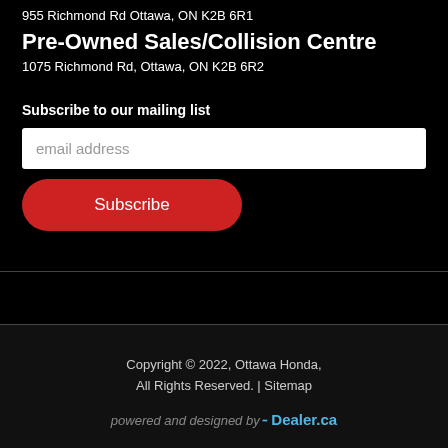955 Richmond Rd Ottawa, ON K2B 6R1
Pre-Owned Sales/Collision Centre
1075 Richmond Rd, Ottawa, ON K2B 6R2
Subscribe to our mailing list
email address
Subscribe
Copyright © 2022, Ottawa Honda, All Rights Reserved. | Sitemap
powered and designed by EDealer.ca